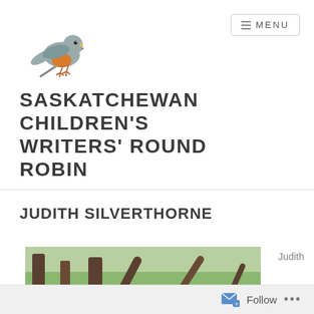[Figure (logo): Illustrated robin bird perched on a diagonal stick/branch, grey-blue body with orange breast, yellow beak, cartoon style]
≡ MENU
SASKATCHEWAN CHILDREN'S WRITERS' ROUND ROBIN
JUDITH SILVERTHORNE
[Figure (photo): Outdoor photo of a woman (Judith Silverthorne) with brown hair, green lawn and trees in the background]
Judith
Follow ...